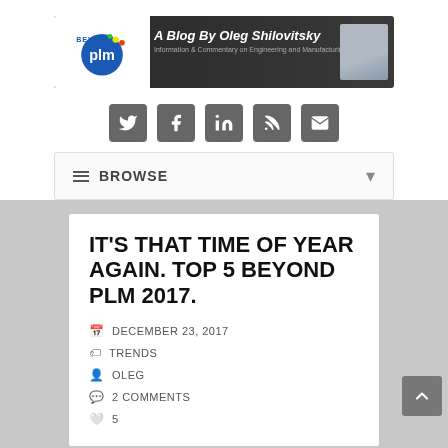[Figure (logo): Beyond PLM blog banner with logo, 'A Blog By Oleg Shilovitsky', subtitle 'Information & Commentary on Engineering and Manufacturing Software', and avatar photo]
[Figure (infographic): Row of five square social media icons: Twitter, Facebook, LinkedIn, RSS feed, Email]
≡  BROWSE  ▾
IT'S THAT TIME OF YEAR AGAIN. TOP 5 BEYOND PLM 2017.
DECEMBER 23, 2017
TRENDS
OLEG
2 COMMENTS
5